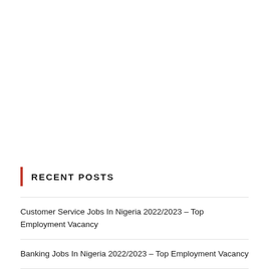RECENT POSTS
Customer Service Jobs In Nigeria 2022/2023 – Top Employment Vacancy
Banking Jobs In Nigeria 2022/2023 – Top Employment Vacancy